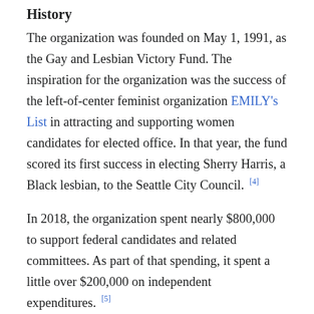History
The organization was founded on May 1, 1991, as the Gay and Lesbian Victory Fund. The inspiration for the organization was the success of the left-of-center feminist organization EMILY's List in attracting and supporting women candidates for elected office. In that year, the fund scored its first success in electing Sherry Harris, a Black lesbian, to the Seattle City Council. [4]
In 2018, the organization spent nearly $800,000 to support federal candidates and related committees. As part of that spending, it spent a little over $200,000 on independent expenditures. [5]
2018 also saw what the organization described as a “rainbow wave” of openly LGBTQ candidates elected to office nationwide. The wave continued as the organization endorsed the most candidates it ever has in the 2020 election cycle. [6]
In 2019, the organization made its first ever presidential...